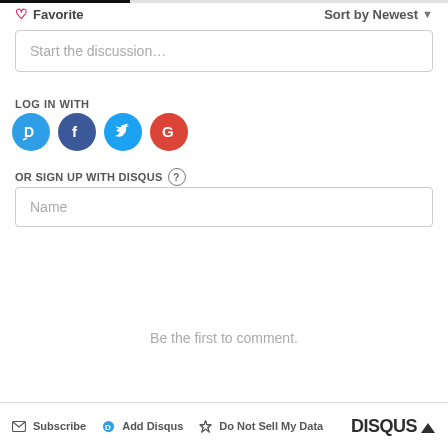Favorite
Sort by Newest
Start the discussion…
LOG IN WITH
[Figure (infographic): Social login buttons: Disqus (blue circle with D), Facebook (dark blue circle with f), Twitter (blue circle with bird), Google (red circle with G)]
OR SIGN UP WITH DISQUS ?
Name
Be the first to comment.
Subscribe  Add Disqus  Do Not Sell My Data  DISQUS